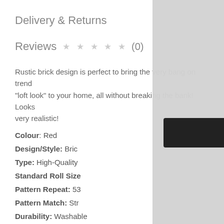Delivery & Returns
Reviews ★ ★ ★ ★ ★ (0)
Rustic brick design is perfect to bring the very bang on trend "loft look" to your home, all without breaking the bank! Looks very realistic!
Colour: Red
Design/Style: Brick
Type: High-Quality
Standard Roll Size
Pattern Repeat: 53
Pattern Match: Str
Durability: Washable
This site uses cookies to provide and improve your shopping experience. If you want to benefit from this improved service, please opt-in. Cookies Page.
I opt-in to a better browsing experience
Accept Cookies